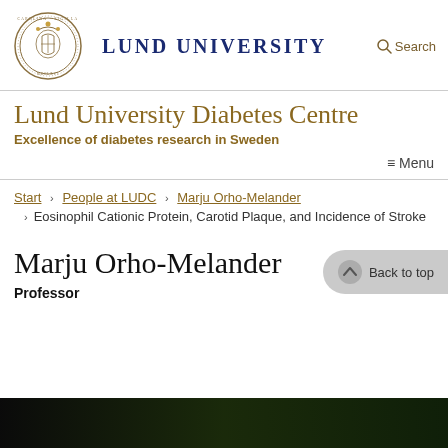LUND UNIVERSITY   Search
Lund University Diabetes Centre
Excellence of diabetes research in Sweden
≡ Menu
Start › People at LUDC › Marju Orho-Melander › Eosinophil Cationic Protein, Carotid Plaque, and Incidence of Stroke
Marju Orho-Melander
Professor
[Figure (photo): Partial photo strip at bottom of page showing a dark background image]